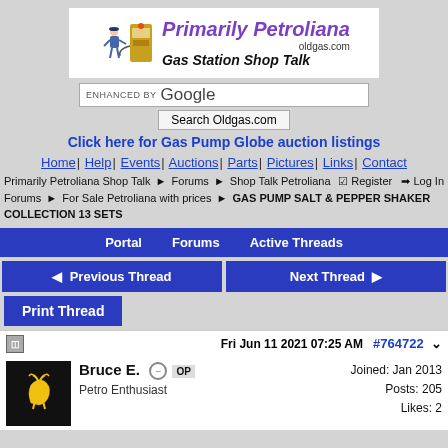[Figure (logo): Primarily Petroliana - Gas Station Shop Talk logo with vintage attendant figure and gas pump, oldgas.com]
ENHANCED BY Google
Search Oldgas.com
Click here for Gas Pump Globe auction listings
Home | Help | Events | Auctions | Parts | Pictures | Links | Contact
Primarily Petroliana Shop Talk > Forums > Shop Talk Petroliana Forums > For Sale Petroliana with prices > GAS PUMP SALT & PEPPER SHAKER COLLECTION 13 SETS
Register   Log In
Portal   Forums   Active Threads
Previous Thread   Next Thread
Print Thread
Fri Jun 11 2021 07:25 AM  #764722
Bruce E.  OP
Petro Enthusiast
Joined: Jan 2013
Posts: 205
Likes: 2